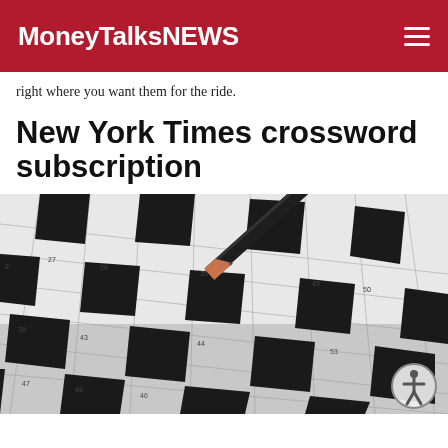MoneyTalksNews
right where you want them for the ride.
New York Times crossword subscription
[Figure (photo): A pencil pointing at a crossword puzzle grid with numbered squares, close-up shot with shallow depth of field. Numbers visible include 27, 35, 38, 43, 44, 45, 46, 48, 50, 53.]